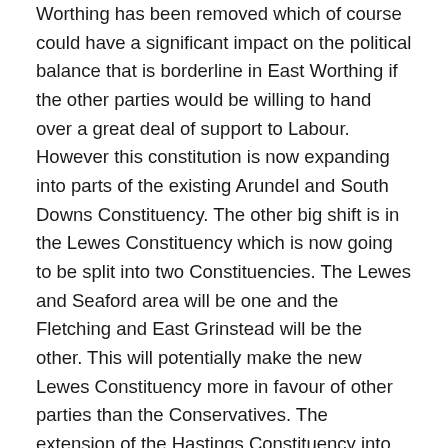Worthing has been removed which of course could have a significant impact on the political balance that is borderline in East Worthing if the other parties would be willing to hand over a great deal of support to Labour. However this constitution is now expanding into parts of the existing Arundel and South Downs Constituency. The other big shift is in the Lewes Constituency which is now going to be split into two Constituencies. The Lewes and Seaford area will be one and the Fletching and East Grinstead will be the other. This will potentially make the new Lewes Constituency more in favour of other parties than the Conservatives. The extension of the Hastings Constituency into Kent may not shift things too much, but it will require Labour and their associate parties to work much harder than is currently needed. So according to the website if we wish our views to be considered, please